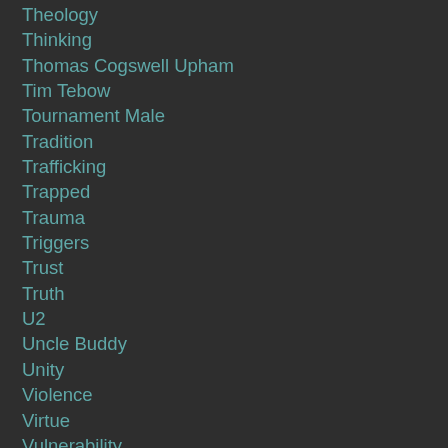Theology
Thinking
Thomas Cogswell Upham
Tim Tebow
Tournament Male
Tradition
Trafficking
Trapped
Trauma
Triggers
Trust
Truth
U2
Uncle Buddy
Unity
Violence
Virtue
Vulnerability
Warrior
Watchman Nee
Waywardness